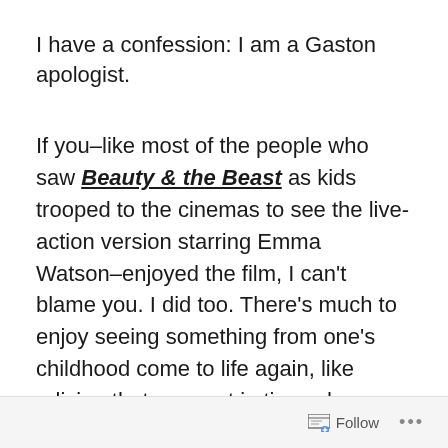I have a confession: I am a Gaston apologist.
If you–like most of the people who saw Beauty & the Beast as kids trooped to the cinemas to see the live-action version starring Emma Watson–enjoyed the film, I can't blame you. I did too. There's much to enjoy seeing something from one's childhood come to life again, like reliving that moment in time when things were less complicated.
Follow ...